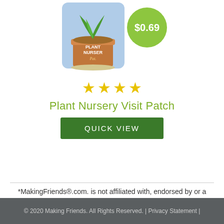[Figure (photo): Product image of a Plant Nursery embroidered patch showing a plant in a pot, with a green circular price badge showing $0.69]
★★★★
Plant Nursery Visit Patch
QUICK VIEW
*MakingFriends®.com. is not affiliated with, endorsed by or a licensee of Girl Scouts of the USA.
© 2020 Making Friends. All Rights Reserved. | Privacy Statement |